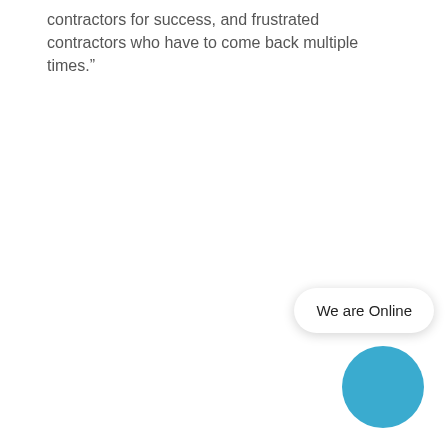contractors for success, and frustrated contractors who have to come back multiple times.”
[Figure (other): A chat widget UI element showing a pill-shaped white button labeled 'We are Online' with a blue circular chat button below it, positioned in the bottom-right corner of the page.]